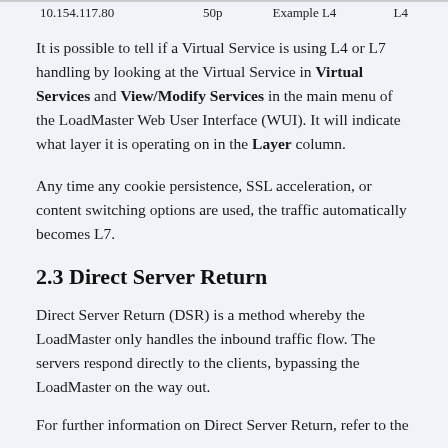| 10.154.117.80 | 50p | Example L4 | L4 |
It is possible to tell if a Virtual Service is using L4 or L7 handling by looking at the Virtual Service in Virtual Services and View/Modify Services in the main menu of the LoadMaster Web User Interface (WUI). It will indicate what layer it is operating on in the Layer column.
Any time any cookie persistence, SSL acceleration, or content switching options are used, the traffic automatically becomes L7.
2.3 Direct Server Return
Direct Server Return (DSR) is a method whereby the LoadMaster only handles the inbound traffic flow. The servers respond directly to the clients, bypassing the LoadMaster on the way out.
For further information on Direct Server Return, refer to the